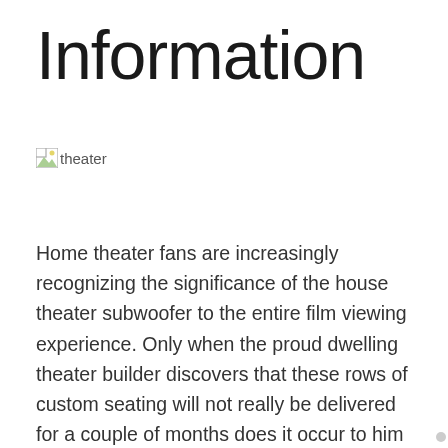Information
[Figure (other): Broken image placeholder labeled 'theater']
Home theater fans are increasingly recognizing the significance of the house theater subwoofer to the entire film viewing experience. Only when the proud dwelling theater builder discovers that these rows of custom seating will not really be delivered for a couple of months does it occur to him that one thing might have been neglected in his zeal to put collectively the right film or sports viewing room.
If you wish to spend some quality time with your partner,